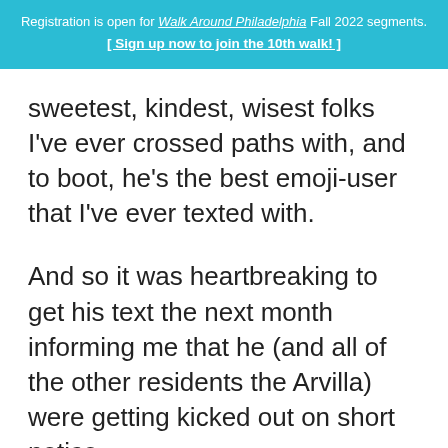Registration is open for Walk Around Philadelphia Fall 2022 segments. [ Sign up now to join the 10th walk! ]
sweetest, kindest, wisest folks I've ever crossed paths with, and to boot, he's the best emoji-user that I've ever texted with.
And so it was heartbreaking to get his text the next month informing me that he (and all of the other residents the Arvilla) were getting kicked out on short notice.